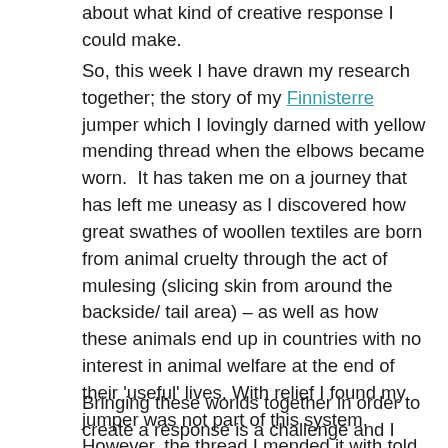about what kind of creative response I could make.
So, this week I have drawn my research together; the story of my Finnisterre jumper which I lovingly darned with yellow mending thread when the elbows became worn.  It has taken me on a journey that has left me uneasy as I discovered how great swathes of woollen textiles are born from animal cruelty through the act of mulesing (slicing skin from around the backside/ tail area) – as well as how these animals end up in countries with no interest in animal welfare at the end of their 'useful' lives. With relief I found my jumper was not part of this system. However, the thread I mended it with told an altogether different story; one of war, refugees and child labour.
Bringing these worlds together in order to create a response is a challenge and I have been reminded of the inspiring and eclectic mix of writing from last